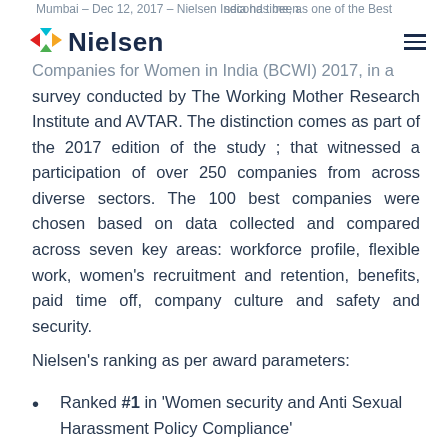Mumbai – Dec 12, 2017 – Nielsen India has been recognised for the second time, as one of the Best Companies for Women in India (BCWI) 2017, in a survey conducted by The Working Mother Research Institute and AVTAR.
survey conducted by The Working Mother Research Institute and AVTAR. The distinction comes as part of the 2017 edition of the study ; that witnessed a participation of over 250 companies from across diverse sectors. The 100 best companies were chosen based on data collected and compared across seven key areas: workforce profile, flexible work, women's recruitment and retention, benefits, paid time off, company culture and safety and security.
Nielsen's ranking as per award parameters:
Ranked #1 in 'Women security and Anti Sexual Harassment Policy Compliance'